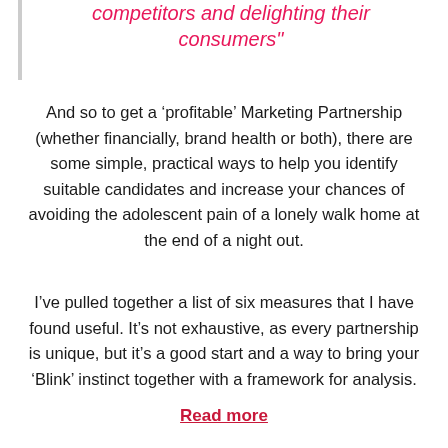competitors and delighting their consumers"
And so to get a ‘profitable’ Marketing Partnership (whether financially, brand health or both), there are some simple, practical ways to help you identify suitable candidates and increase your chances of avoiding the adolescent pain of a lonely walk home at the end of a night out.
I’ve pulled together a list of six measures that I have found useful. It’s not exhaustive, as every partnership is unique, but it’s a good start and a way to bring your ‘Blink’ instinct together with a framework for analysis.
Read more